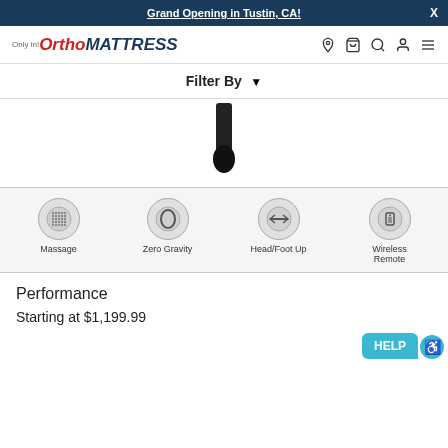Grand Opening in Tustin, CA!
[Figure (logo): Ortho Mattress logo with mascot and red italic text]
Filter By
[Figure (photo): Partial product image showing bottom portion of an adjustable bed remote/controller]
[Figure (infographic): Feature icons: Massage, Zero Gravity, Head/Foot Up, Wireless Remote]
Performance
Starting at $1,199.99